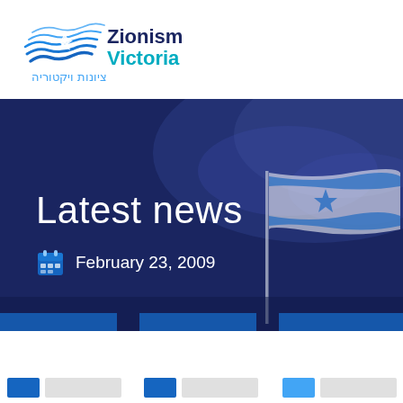[Figure (logo): Zionism Victoria logo with wave/Star of David graphic and Hebrew text]
Latest news
February 23, 2009
[Figure (other): Three partially visible article card thumbnails at the bottom of the page with blue bars]